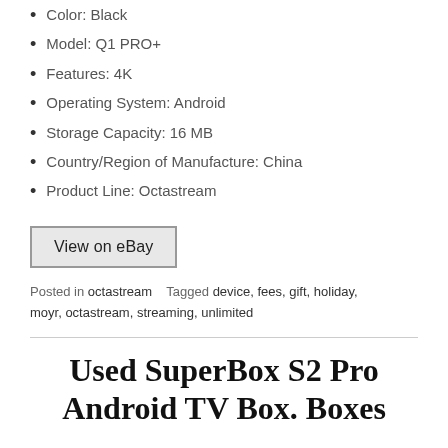Color: Black
Model: Q1 PRO+
Features: 4K
Operating System: Android
Storage Capacity: 16 MB
Country/Region of Manufacture: China
Product Line: Octastream
[Figure (other): View on eBay button]
Posted in octastream   Tagged device, fees, gift, holiday, moyr, octastream, streaming, unlimited
Used SuperBox S2 Pro Android TV Box. Boxes